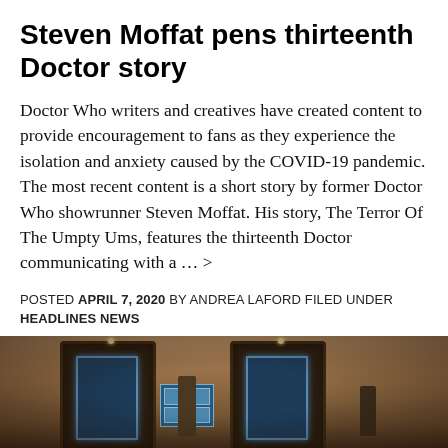Steven Moffat pens thirteenth Doctor story
Doctor Who writers and creatives have created content to provide encouragement to fans as they experience the isolation and anxiety caused by the COVID-19 pandemic. The most recent content is a short story by former Doctor Who showrunner Steven Moffat. His story, The Terror Of The Umpty Ums, features the thirteenth Doctor communicating with a ... >
POSTED APRIL 7, 2020 BY ANDREA LAFORD FILED UNDER HEADLINES NEWS
[Figure (photo): Interior scene showing two TARDIS police boxes side by side in a cave or rocky interior setting with warm amber lighting. A figure stands between them.]